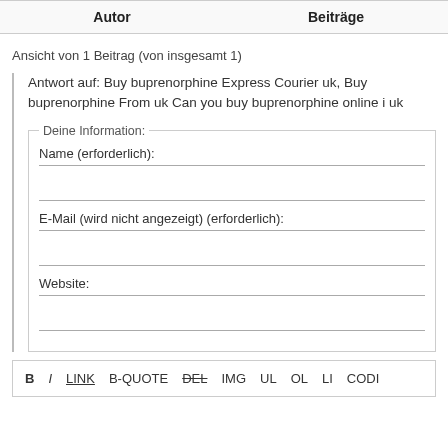| Autor | Beiträge |
| --- | --- |
Ansicht von 1 Beitrag (von insgesamt 1)
Antwort auf: Buy buprenorphine Express Courier uk, Buy buprenorphine From uk Can you buy buprenorphine online i uk
Deine Information: Name (erforderlich): E-Mail (wird nicht angezeigt) (erforderlich): Website:
B I LINK B-QUOTE DEL IMG UL OL LI CODI